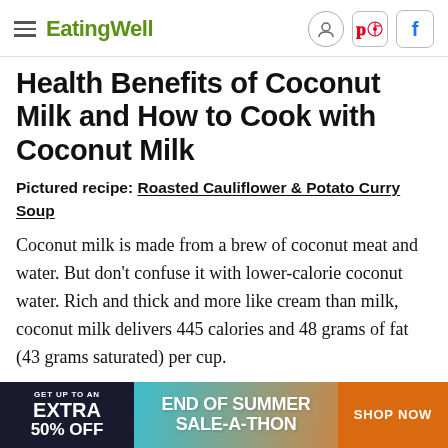EatingWell
Health Benefits of Coconut Milk and How to Cook with Coconut Milk
Pictured recipe: Roasted Cauliflower & Potato Curry Soup
Coconut milk is made from a brew of coconut meat and water. But don't confuse it with lower-calorie coconut water. Rich and thick and more like cream than milk, coconut milk delivers 445 calories and 48 grams of fat (43 grams saturated) per cup.
The main ingredient...
[Figure (other): Advertisement banner: GET UP TO AN EXTRA 50% OFF | END OF SUMMER SALE-A-THON | SHOP NOW]